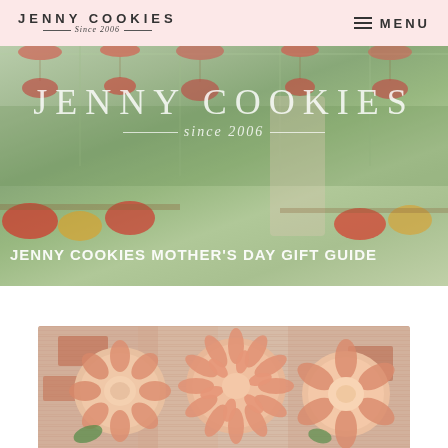JENNY COOKIES since 2006 | MENU
[Figure (photo): Hero banner photo of a woman in a greenhouse/garden center with hanging flower baskets and colorful flowers, overlaid with 'JENNY COOKIES since 2006' branding text and subtitle 'JENNY COOKIES MOTHER'S DAY GIFT GUIDE']
JENNY COOKIES MOTHER'S DAY GIFT GUIDE
[Figure (photo): Close-up photo of decorated sugar cookies with flower designs in coral/salmon colors on a rustic white painted wood surface, partially visible at bottom of page]